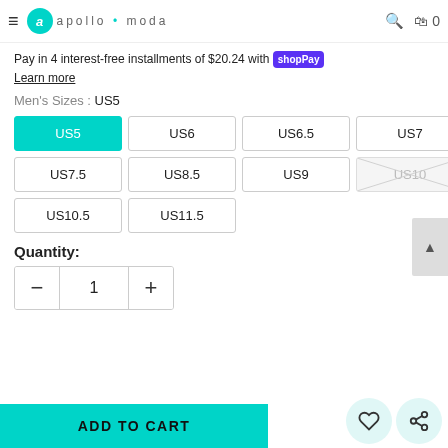apollo moda
Best quality materials. High sole comfort. Look great and be confident on all occasions wearing our sneakers.
Pay in 4 interest-free installments of $20.24 with Shop Pay
Learn more
Men's Sizes : US5
Size options: US5 (selected), US6, US6.5, US7, US7.5, US8.5, US9, US10 (unavailable), US10.5, US11.5
Quantity:
1
ADD TO CART